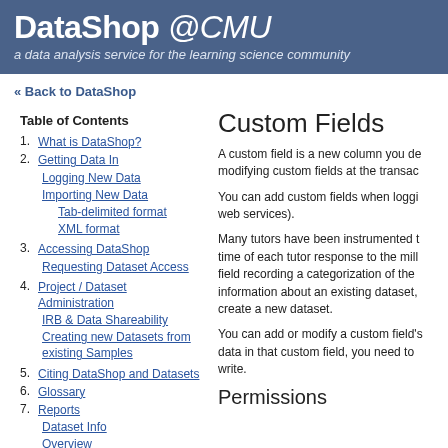DataShop @CMU — a data analysis service for the learning science community
« Back to DataShop
Table of Contents
1. What is DataShop?
2. Getting Data In
Logging New Data
Importing New Data
Tab-delimited format
XML format
3. Accessing DataShop
Requesting Dataset Access
4. Project / Dataset Administration
IRB & Data Shareability
Creating new Datasets from existing Samples
5. Citing DataShop and Datasets
6. Glossary
7. Reports
Dataset Info
Overview
Custom Fields
A custom field is a new column you de modifying custom fields at the transac
You can add custom fields when loggi web services).
Many tutors have been instrumented t time of each tutor response to the mill field recording a categorization of the information about an existing dataset, create a new dataset.
You can add or modify a custom field' data in that custom field, you need to write.
Permissions